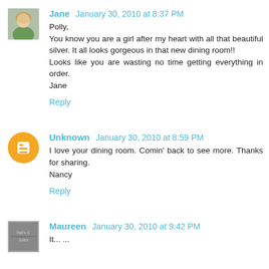Jane  January 30, 2010 at 8:37 PM
Polly,
You know you are a girl after my heart with all that beautiful silver. It all looks gorgeous in that new dining room!!
Looks like you are wasting no time getting everything in order.
Jane
Reply
Unknown  January 30, 2010 at 8:59 PM
I love your dining room. Comin' back to see more. Thanks for sharing.
Nancy
Reply
Maureen  January 30, 2010 at 9:42 PM